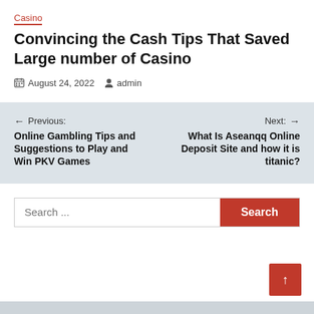Casino
Convincing the Cash Tips That Saved Large number of Casino
August 24, 2022   admin
← Previous: Online Gambling Tips and Suggestions to Play and Win PKV Games   Next: → What Is Aseanqq Online Deposit Site and how it is titanic?
Search ...